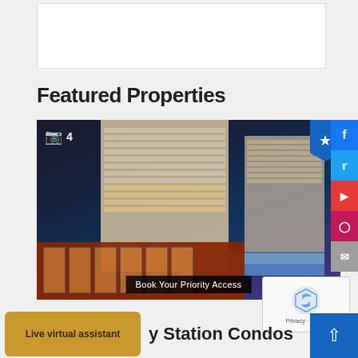[Figure (photo): White banner/advertisement area at the top of the page]
Featured Properties
[Figure (photo): Aerial rendering of a modern high-rise mixed-use condominium building with brick lower floors and glass tower above. Shows rooftop amenity area. Camera icon with count '4' in top left. Blue bookmark/star button top right. 'Book Your Priority Access' label at bottom.]
Live virtual assistant
y Station Condos